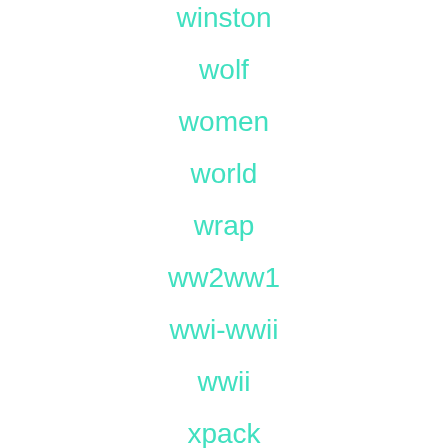winston
wolf
women
world
wrap
ww2ww1
wwi-wwii
wwii
xpack
yoke
yugoslavian
zastava